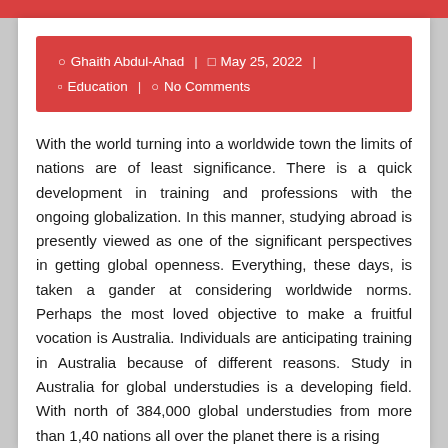Ghaith Abdul-Ahad | May 25, 2022 | Education | No Comments
With the world turning into a worldwide town the limits of nations are of least significance. There is a quick development in training and professions with the ongoing globalization. In this manner, studying abroad is presently viewed as one of the significant perspectives in getting global openness. Everything, these days, is taken a gander at considering worldwide norms. Perhaps the most loved objective to make a fruitful vocation is Australia. Individuals are anticipating training in Australia because of different reasons. Study in Australia for global understudies is a developing field. With north of 384,000 global understudies from more than 1,40 nations all over the planet there is a rising